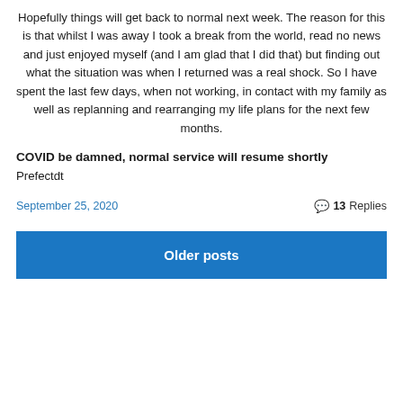Hopefully things will get back to normal next week. The reason for this is that whilst I was away I took a break from the world, read no news and just enjoyed myself (and I am glad that I did that) but finding out what the situation was when I returned was a real shock. So I have spent the last few days, when not working, in contact with my family as well as replanning and rearranging my life plans for the next few months.
COVID be damned, normal service will resume shortly
Prefectdt
September 25, 2020
13 Replies
Older posts